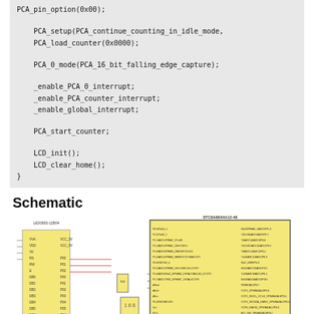PCA_pin_option(0x00);

    PCA_setup(PCA_continue_counting_in_idle_mode,
    PCA_load_counter(0x0000);

    PCA_0_mode(PCA_16_bit_falling_edge_capture);

    _enable_PCA_0_interrupt;
    _enable_PCA_counter_interrupt;
    _enable_global_interrupt;

    PCA_start_counter;

    LCD_init();
    LCD_clear_home();
}
Schematic
[Figure (schematic): Circuit schematic showing an LCD module (LED0802-12B04) connected to a microcontroller (STC8A8K64A12-48) with various pin connections, resistors, and a 7-segment display component.]